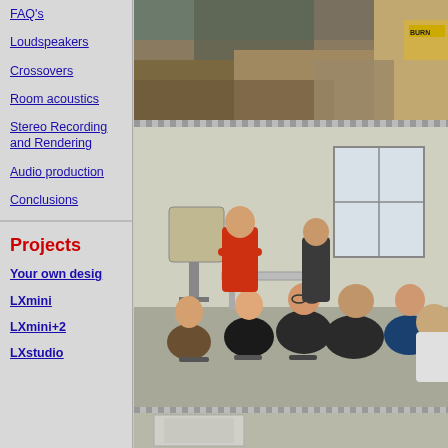FAQ's
Loudspeakers
Crossovers
Room acoustics
Stereo Recording and Rendering
Audio production
Conclusions
Projects
Your own desig
LXmini
LXmini+2
LXstudio
[Figure (photo): Close-up of a person leaning over, with items in the background including a yellow BURN label]
[Figure (photo): Group of people in a room listening to a presentation, with loudspeakers visible and a man in a red shirt standing]
[Figure (photo): Partial view of a room or equipment, bottom of page]